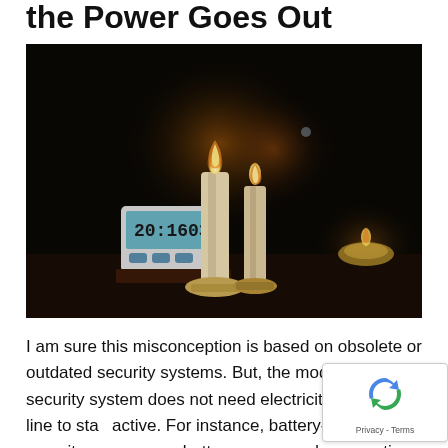the Power Goes Out
[Figure (photo): Dark room scene with two tall lit candles on a surface, a small digital clock/timer displaying 20:1603, and a small tea light candle glowing in the background right. The setting suggests a power outage.]
I am sure this misconception is based on obsolete or outdated security systems. But, the modern day's security system does not need electricity or a phone line to stay active. For instance, battery-powered security cameras on battery power and can continue to record even when there is a power outage. Moreover, there are even some